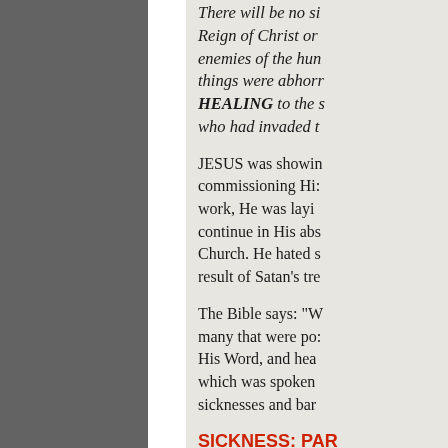There will be no sickness in the Reign of Christ on earth. These enemies of the human race — these things were abhorrent to Him. HEALING to the sick and possessed who had invaded the...
JESUS was showing and commissioning His disciples to work, He was laying out work to continue in His absence through the Church. He hated sickness as a result of Satan's tre...
The Bible says: "W... many that were po... His Word, and hea... which was spoken ... sicknesses and bar...
SICKNESS: PAR